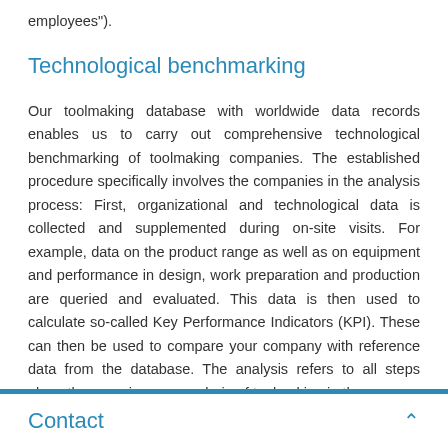employees").
Technological benchmarking
Our toolmaking database with worldwide data records enables us to carry out comprehensive technological benchmarking of toolmaking companies. The established procedure specifically involves the companies in the analysis process: First, organizational and technological data is collected and supplemented during on-site visits. For example, data on the product range as well as on equipment and performance in design, work preparation and production are queried and evaluated. This data is then used to calculate so-called Key Performance Indicators (KPI). These can then be used to compare your company with reference data from the database. The analysis refers to all steps along the generic process chain of toolmaking in the
Contact